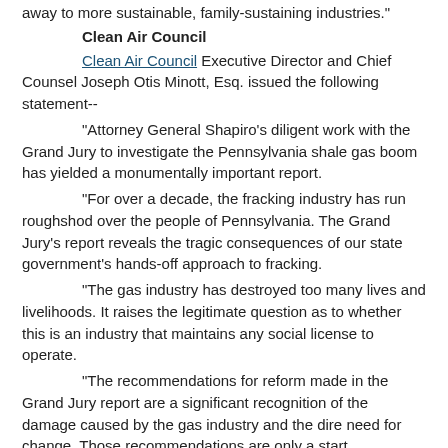away to more sustainable, family-sustaining industries."
Clean Air Council
Clean Air Council Executive Director and Chief Counsel Joseph Otis Minott, Esq. issued the following statement--
"Attorney General Shapiro’s diligent work with the Grand Jury to investigate the Pennsylvania shale gas boom has yielded a monumentally important report.
"For over a decade, the fracking industry has run roughshod over the people of Pennsylvania. The Grand Jury’s report reveals the tragic consequences of our state government’s hands-off approach to fracking.
"The gas industry has destroyed too many lives and livelihoods. It raises the legitimate question as to whether this is an industry that maintains any social license to operate.
"The recommendations for reform made in the Grand Jury report are a significant recognition of the damage caused by the gas industry and the dire need for change. Those recommendations are only a start.
"Given the industry’s lack of integrity and the need to move away from fossil fuels to combat climate change, under what possible conditions could the public feel safe continuing to allow the industry to operate here?"